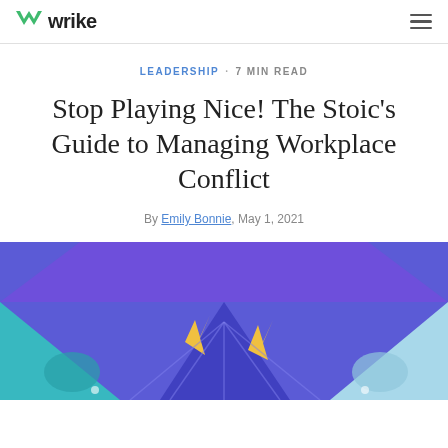wrike
LEADERSHIP · 7 MIN READ
Stop Playing Nice! The Stoic's Guide to Managing Workplace Conflict
By Emily Bonnie, May 1, 2021
[Figure (illustration): Illustrated hero image with a blue/purple background showing lightning bolt graphics, representing workplace conflict in a stylized cartoon style.]